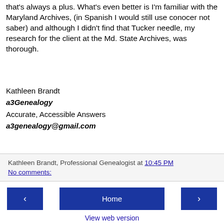that's always a plus. What's even better is I'm familiar with the Maryland Archives, (in Spanish I would still use conocer not saber) and although I didn't find that Tucker needle, my research for the client at the Md. State Archives, was thorough.
Kathleen Brandt
a3Genealogy
Accurate, Accessible Answers
a3genealogy@gmail.com
Kathleen Brandt, Professional Genealogist at 10:45 PM
No comments:
‹   Home   ›
View web version
Powered by Blogger.